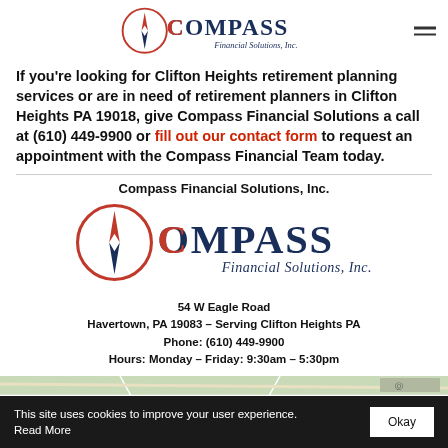Compass Financial Solutions, Inc. [logo + nav]
If you're looking for Clifton Heights retirement planning services or are in need of retirement planners in Clifton Heights PA 19018, give Compass Financial Solutions a call at (610) 449-9900 or fill out our contact form to request an appointment with the Compass Financial Team today.
[Figure (logo): Compass Financial Solutions, Inc. logo — large version with compass needle graphic, dark blue and red lettering]
Compass Financial Solutions, Inc.
54 W Eagle Road
Havertown, PA 19083 – Serving Clifton Heights PA
Phone: (610) 449-9900
Hours: Monday – Friday: 9:30am – 5:30pm
[Figure (map): Partial map showing street layout near Havertown PA area, cropped at bottom of page]
This site uses cookies to improve your user experience. Read More